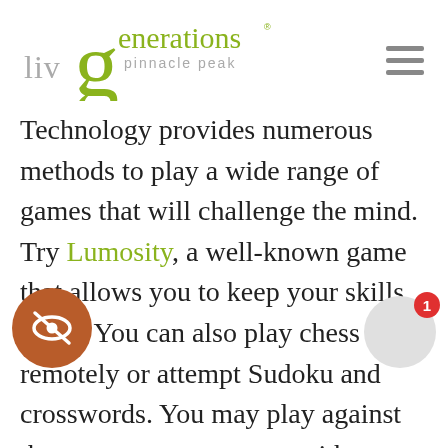[Figure (logo): Liv Generations Pinnacle Peak logo with a large stylized green 'g' and the text 'liv generations pinnacle peak']
Technology provides numerous methods to play a wide range of games that will challenge the mind. Try Lumosity, a well-known game that allows you to keep your skills sharp. You can also play chess remotely or attempt Sudoku and crosswords. You may play against the computer or connect with people that like brain games and compete against them. You not only keep your mind active, but you may have a good time with new friends as well.